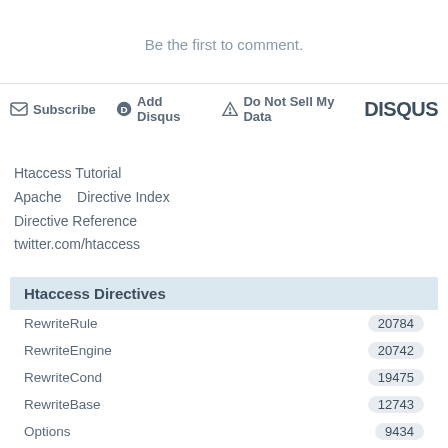Be the first to comment.
Subscribe   Add Disqus   Do Not Sell My Data   DISQUS
Htaccess Tutorial
Apache   Directive Index
Directive Reference
twitter.com/htaccess
| Htaccess Directives |  |
| --- | --- |
| RewriteRule | 20784 |
| RewriteEngine | 20742 |
| RewriteCond | 19475 |
| RewriteBase | 12743 |
| Options | 9434 |
| Allow | 6623 |
| Deny | 6074 |